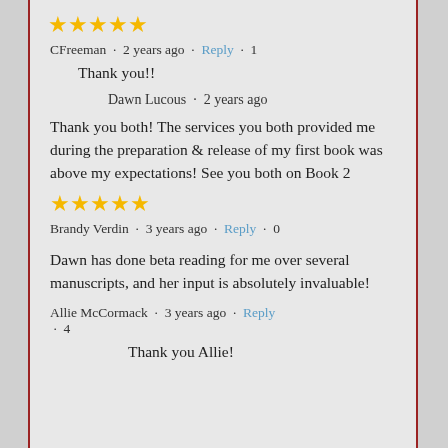[Figure (other): Five gold star rating icons]
CFreeman · 2 years ago · Reply · 1
Thank you!!
Dawn Lucous · 2 years ago
Thank you both! The services you both provided me during the preparation & release of my first book was above my expectations! See you both on Book 2
[Figure (other): Five gold star rating icons]
Brandy Verdin · 3 years ago · Reply · 0
Dawn has done beta reading for me over several manuscripts, and her input is absolutely invaluable!
Allie McCormack · 3 years ago · Reply · 4
Thank you Allie!